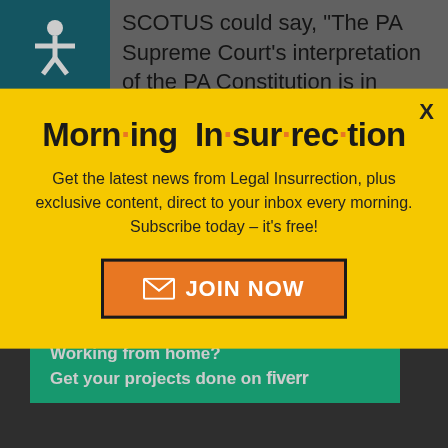[Figure (screenshot): Background page with accessibility icon (teal), partial quote text 'SCOTUS could say, "The PA Supreme Court's interpretation of the PA Constitution is in conflict']
[Figure (screenshot): Bottom section with dark background showing partial text 'The Arizona case simply should' and orange 'top', with a close X button overlay, and a Fiverr green banner 'Working from home? Get your projects done on fiverr']
Morn·ing In·sur·rec·tion
Get the latest news from Legal Insurrection, plus exclusive content, direct to your inbox every morning. Subscribe today – it's free!
JOIN NOW